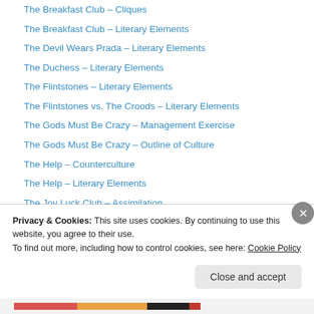The Breakfast Club – Cliques
The Breakfast Club – Literary Elements
The Devil Wears Prada – Literary Elements
The Duchess – Literary Elements
The Flintstones – Literary Elements
The Flintstones vs. The Croods – Literary Elements
The Gods Must Be Crazy – Management Exercise
The Gods Must Be Crazy – Outline of Culture
The Help – Counterculture
The Help – Literary Elements
The Joy Luck Club – Assimilation
The Joy Luck Club – Literary Elements
The Liberator – Cultural Lessons
The Motorcycle Diaries – Literary Elements
Privacy & Cookies: This site uses cookies. By continuing to use this website, you agree to their use.
To find out more, including how to control cookies, see here: Cookie Policy
Close and accept